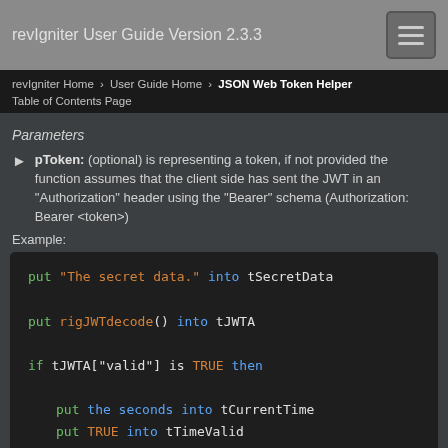revIgniter User Guide Version 2.3.3
revIgniter Home › User Guide Home › JSON Web Token Helper
Table of Contents Page
Parameters
pToken: (optional) is representing a token, if not provided the function assumes that the client side has sent the JWT in an "Authorization" header using the "Bearer" schema (Authorization: Bearer <token>)
Example:
[Figure (screenshot): Code block showing LiveCode/revIgniter JWT decode example: put "The secret data." into tSecretData, put rigJWTdecode() into tJWTA, if tJWTA["valid"] is TRUE then, put the seconds into tCurrentTime, put TRUE into tTimeValid]